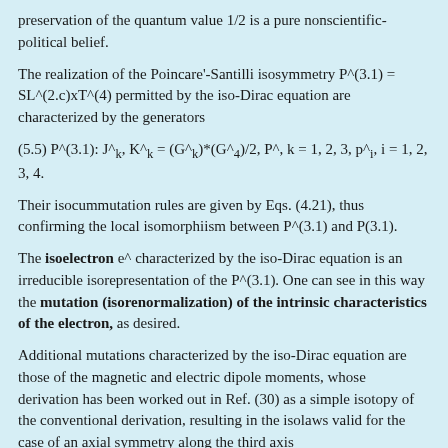preservation of the quantum value 1/2 is a pure nonscientific-political belief.
The realization of the Poincare'-Santilli isosymmetry P^(3.1) = SL^(2.c)xT^(4) permitted by the iso-Dirac equation are characterized by the generators
Their isocummutation rules are given by Eqs. (4.21), thus confirming the local isomorphiism between P^(3.1) and P(3.1).
The isoelectron e^ characterized by the iso-Dirac equation is an irreducible isorepresentation of the P^(3.1). One can see in this way the mutation (isorenormalization) of the intrinsic characteristics of the electron, as desired.
Additional mutations characterized by the iso-Dirac equation are those of the magnetic and electric dipole moments, whose derivation has been worked out in Ref. (30) as a simple isotopy of the conventional derivation, resulting in the isolaws valid for the case of an axial symmetry along the third axis